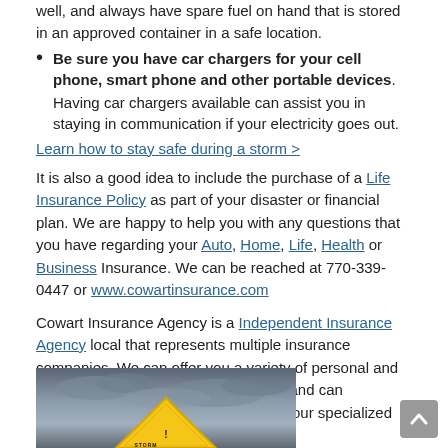well, and always have spare fuel on hand that is stored in an approved container in a safe location.
Be sure you have car chargers for your cell phone, smart phone and other portable devices. Having car chargers available can assist you in staying in communication if your electricity goes out.
Learn how to stay safe during a storm >
It is also a good idea to include the purchase of a Life Insurance Policy as part of your disaster or financial plan. We are happy to help you with any questions that you have regarding your Auto, Home, Life, Health or Business Insurance. We can be reached at 770-339-0447 or www.cowartinsurance.com
Cowart Insurance Agency is a Independent Insurance Agency local that represents multiple insurance companies. We can offer you a variety of personal and business insurance coverage choices and can customize an insurance plan to meet your specialized needs.
[Figure (photo): Photo of a yellow caution/warning road sign against a dramatic stormy dark grey sky background]